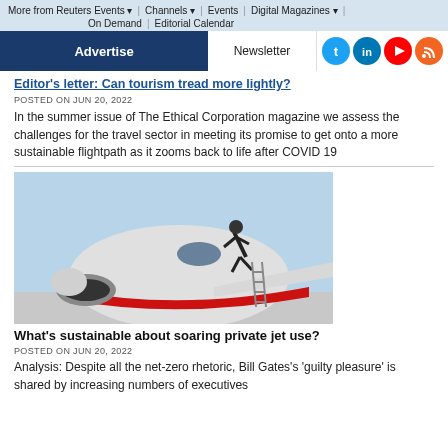More from Reuters Events | Channels | Events | Digital Magazines | On Demand | Editorial Calendar
Advertise | Newsletter
Editor's letter: Can tourism tread more lightly?
POSTED ON JUN 20, 2022
In the summer issue of The Ethical Corporation magazine we assess the challenges for the travel sector in meeting its promise to get onto a more sustainable flightpath as it zooms back to life after COVID 19
[Figure (photo): A man in dark clothing climbing or inspecting the nose of a private jet aircraft on an airport tarmac]
What's sustainable about soaring private jet use?
POSTED ON JUN 20, 2022
Analysis: Despite all the net-zero rhetoric, Bill Gates's 'guilty pleasure' is shared by increasing numbers of executives